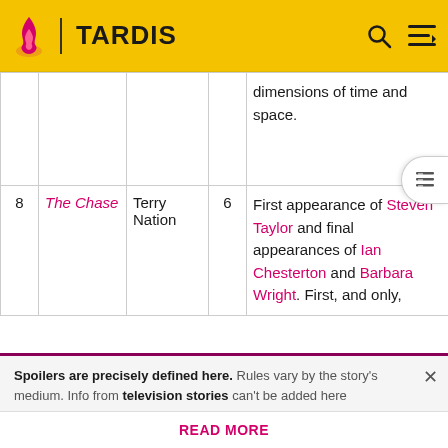TARDIS
| # | Title | Writer | Eps | Notes |
| --- | --- | --- | --- | --- |
|  |  |  |  | dimensions of time and space. |
| 8 | The Chase | Terry Nation | 6 | First appearance of Steven Taylor and final appearances of Ian Chesterton and Barbara Wright. First, and only, |
Spoilers are precisely defined here. Rules vary by the story's medium. Info from television stories can't be added here
READ MORE